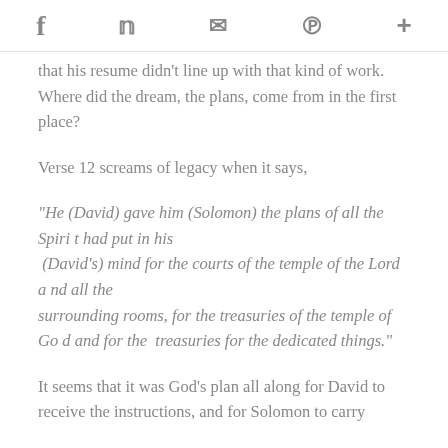f  𝕏  ✉  P  +
that his resume didn't line up with that kind of work. Where did the dream, the plans, come from in the first place?
Verse 12 screams of legacy when it says,
"He (David) gave him (Solomon) the plans of all the Spirit had put in his (David's) mind for the courts of the temple of the Lord and all the surrounding rooms, for the treasuries of the temple of God and for the treasuries for the dedicated things."
It seems that it was God's plan all along for David to receive the instructions, and for Solomon to carry